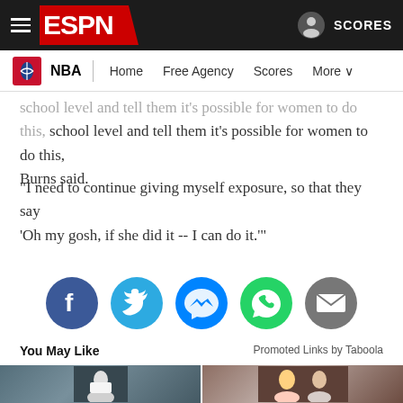ESPN — NBA | Home | Free Agency | Scores | More
school level and tell them it's possible for women to do this, Burns said.
"I need to continue giving myself exposure, so that they say 'Oh my gosh, if she did it -- I can do it.'"
[Figure (infographic): Social share buttons: Facebook, Twitter, Messenger, WhatsApp, Email]
You May Like
Promoted Links by Taboola
[Figure (photo): Basketball player in Timberwolves uniform holding ball on court]
[Figure (photo): Smiling couple, blonde woman and older man with white beard]